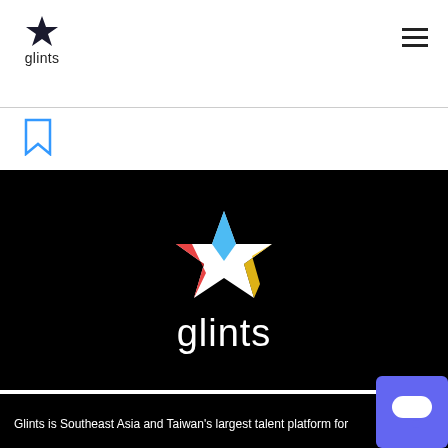glints
[Figure (logo): Glints star logo with bookmark and share icons below]
[Figure (screenshot): Grey button with text THIS JOB WAS CLOSED]
[Figure (logo): Glints full color logo on black background]
Glints is Southeast Asia and Taiwan's largest talent platform for